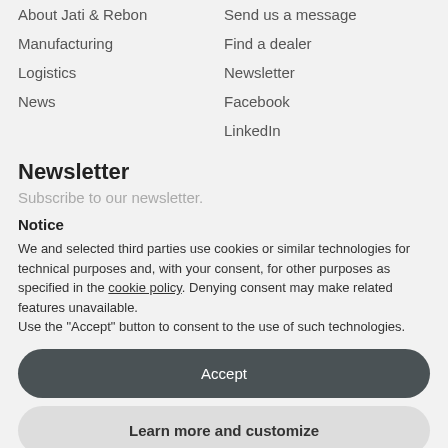About Jati & Rebon
Send us a message
Manufacturing
Find a dealer
Logistics
Newsletter
News
Facebook
LinkedIn
Newsletter
Subscribe to our newsletter.
Notice
We and selected third parties use cookies or similar technologies for technical purposes and, with your consent, for other purposes as specified in the cookie policy. Denying consent may make related features unavailable.
Use the "Accept" button to consent to the use of such technologies.
Accept
Learn more and customize